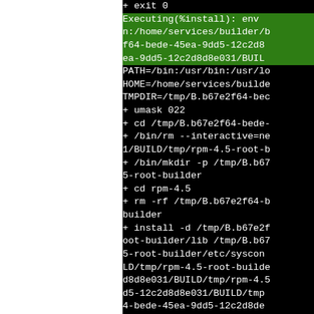[Figure (screenshot): Terminal/console output showing RPM build install phase execution. Left portion is white (document margin). Right portion shows a black terminal with green-highlighted lines for 'Executing(%install): env ...' block and white text for shell script commands including PATH, HOME, TMPDIR settings, umask, cd, rm, mkdir, install commands with long path strings containing UUIDs like b67e2f64-bede-45ea-9dd5-12c2d8d8e031.]